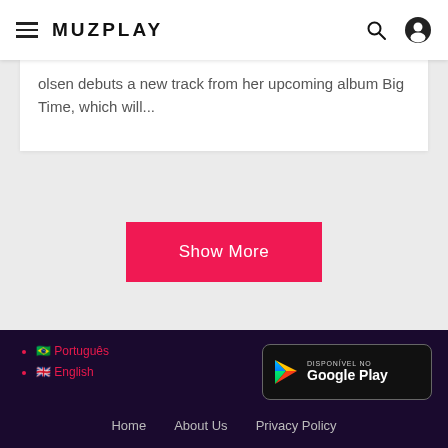MUZPLAY
olsen debuts a new track from her upcoming album Big Time, which will...
Show More
🇧🇷 Português
🇬🇧 English
[Figure (logo): Google Play badge with triangle play icon and text DISPONÍVEL NO Google Play]
Home   About Us   Privacy Policy   Facebook   Twitter